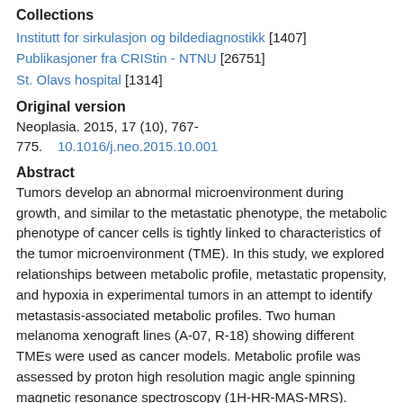Collections
Institutt for sirkulasjon og bildediagnostikk [1407]
Publikasjoner fra CRIStin - NTNU [26751]
St. Olavs hospital [1314]
Original version
Neoplasia. 2015, 17 (10), 767-775.    10.1016/j.neo.2015.10.001
Abstract
Tumors develop an abnormal microenvironment during growth, and similar to the metastatic phenotype, the metabolic phenotype of cancer cells is tightly linked to characteristics of the tumor microenvironment (TME). In this study, we explored relationships between metabolic profile, metastatic propensity, and hypoxia in experimental tumors in an attempt to identify metastasis-associated metabolic profiles. Two human melanoma xenograft lines (A-07, R-18) showing different TMEs were used as cancer models. Metabolic profile was assessed by proton high resolution magic angle spinning magnetic resonance spectroscopy (1H-HR-MAS-MRS). Tumor hypoxia was detected in immunostained histological preparations by using pimonidazole as a hypoxia marker. Twenty-four samples from 10 A-07 tumors and 28 samples from 10 R-18 tumors were analyzed. Metastasis was associated with hypoxia in